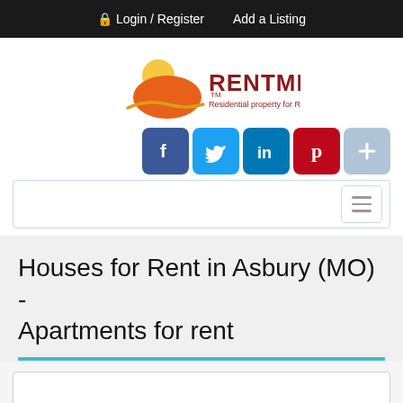Login / Register   Add a Listing
[Figure (logo): RentMLS logo - orange and yellow sun/house icon with text RENTMLS and tagline Residential property for Rent]
[Figure (infographic): Social share buttons: Facebook, Twitter, LinkedIn, Pinterest, and a plus/more button]
[Figure (screenshot): Navigation search bar with hamburger menu icon on the right]
Houses for Rent in Asbury (MO) - Apartments for rent